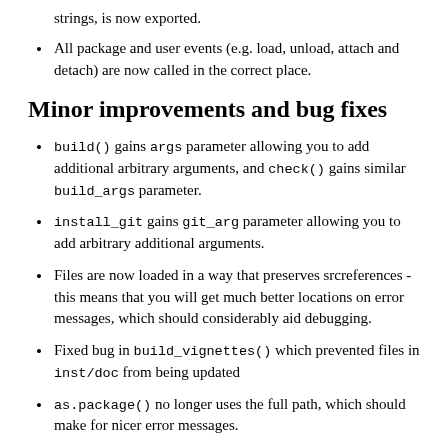strings, is now exported.
All package and user events (e.g. load, unload, attach and detach) are now called in the correct place.
Minor improvements and bug fixes
build() gains args parameter allowing you to add additional arbitrary arguments, and check() gains similar build_args parameter.
install_git gains git_arg parameter allowing you to add arbitrary additional arguments.
Files are now loaded in a way that preserves srcreferences - this means that you will get much better locations on error messages, which should considerably aid debugging.
Fixed bug in build_vignettes() which prevented files in inst/doc from being updated
as.package() no longer uses the full path, which should make for nicer error messages.
More flexibility when installing package dependencies with